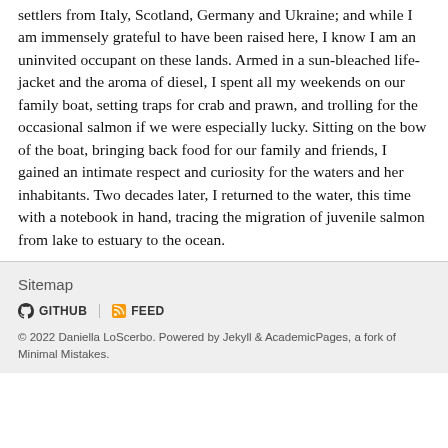settlers from Italy, Scotland, Germany and Ukraine; and while I am immensely grateful to have been raised here, I know I am an uninvited occupant on these lands. Armed in a sun-bleached life-jacket and the aroma of diesel, I spent all my weekends on our family boat, setting traps for crab and prawn, and trolling for the occasional salmon if we were especially lucky. Sitting on the bow of the boat, bringing back food for our family and friends, I gained an intimate respect and curiosity for the waters and her inhabitants. Two decades later, I returned to the water, this time with a notebook in hand, tracing the migration of juvenile salmon from lake to estuary to the ocean.
Sitemap
GITHUB  FEED
© 2022 Daniella LoScerbo. Powered by Jekyll & AcademicPages, a fork of Minimal Mistakes.